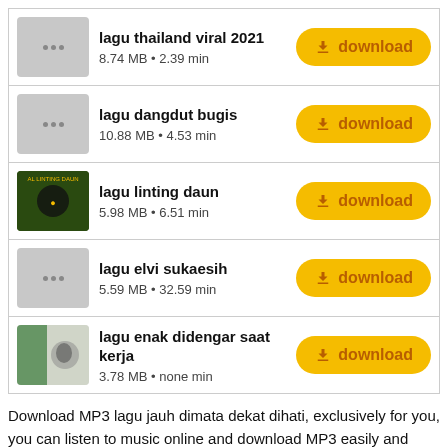lagu thailand viral 2021
8.74 MB • 2.39 min
lagu dangdut bugis
10.88 MB • 4.53 min
lagu linting daun
5.98 MB • 6.51 min
lagu elvi sukaesih
5.59 MB • 32.59 min
lagu enak didengar saat kerja
3.78 MB • none min
Download MP3 lagu jauh dimata dekat dihati, exclusively for you, you can listen to music online and download MP3 easily and quickly. You can also Download MP3 audio for free, and if you still don't know how to download MP3 music you can see the instructions at the bottom of this MP3 page. Now you can download MP3 lagu jauh dimata dekat dihati for free and in the highest quality 192 kbps, this list of online songs contains search results that were previously selected for you, here you will get the best songs and videos that are in fashion in this 2022, you can download MP3 music lagu jauh dimata dekat dihati in various